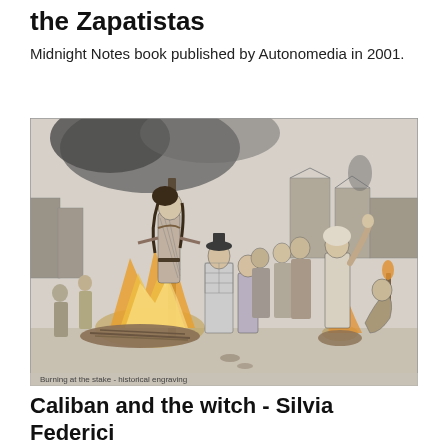the Zapatistas
Midnight Notes book published by Autonomedia in 2001.
[Figure (illustration): Historical black and white engraving depicting a witch burning scene. A woman is standing at a stake surrounded by flames and bundles of wood. A crowd of onlookers and officials in period clothing observe. Buildings are visible in the background. A kneeling or crouching figure is in the foreground right.]
Caliban and the witch - Silvia Federici